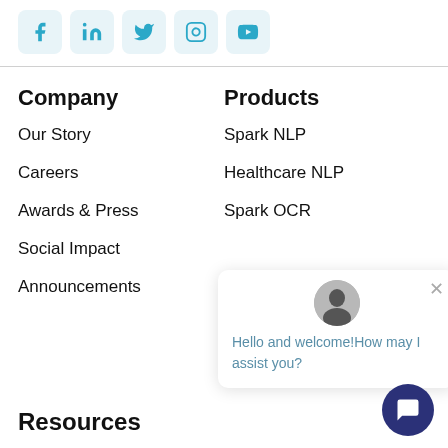[Figure (other): Row of social media icon buttons: Facebook, LinkedIn, Twitter, Instagram, YouTube]
Company
Our Story
Careers
Awards & Press
Social Impact
Announcements
Products
Spark NLP
Healthcare NLP
Spark OCR
Hello and welcome!How may I assist you?
NLP Server
Resources